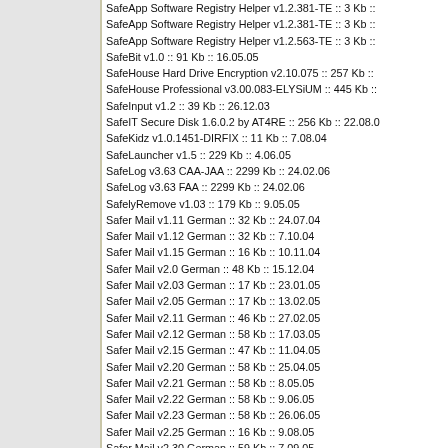SafeApp Software Registry Helper v1.2.381-TE :: 3 Kb ::
SafeApp Software Registry Helper v1.2.381-TE :: 3 Kb ::
SafeApp Software Registry Helper v1.2.563-TE :: 3 Kb ::
SafeBit v1.0 :: 91 Kb :: 16.05.05
SafeHouse Hard Drive Encryption v2.10.075 :: 257 Kb ::
SafeHouse Professional v3.00.083-ELYSiUM :: 445 Kb ::
SafeInput v1.2 :: 39 Kb :: 26.12.03
SafeIT Secure Disk 1.6.0.2 by AT4RE :: 256 Kb :: 22.08.0
SafeKidz v1.0.1451-DIRFIX :: 11 Kb :: 7.08.04
SafeLauncher v1.5 :: 229 Kb :: 4.06.05
SafeLog v3.63 CAA-JAA :: 2299 Kb :: 24.02.06
SafeLog v3.63 FAA :: 2299 Kb :: 24.02.06
SafelyRemove v1.03 :: 179 Kb :: 9.05.05
Safer Mail v1.11 German :: 32 Kb :: 24.07.04
Safer Mail v1.12 German :: 32 Kb :: 7.10.04
Safer Mail v1.15 German :: 16 Kb :: 10.11.04
Safer Mail v2.0 German :: 48 Kb :: 15.12.04
Safer Mail v2.03 German :: 17 Kb :: 23.01.05
Safer Mail v2.05 German :: 17 Kb :: 13.02.05
Safer Mail v2.11 German :: 46 Kb :: 27.02.05
Safer Mail v2.12 German :: 58 Kb :: 17.03.05
Safer Mail v2.15 German :: 47 Kb :: 11.04.05
Safer Mail v2.20 German :: 58 Kb :: 25.04.05
Safer Mail v2.21 German :: 58 Kb :: 8.05.05
Safer Mail v2.22 German :: 58 Kb :: 9.06.05
Safer Mail v2.23 German :: 58 Kb :: 26.06.05
Safer Mail v2.25 German :: 16 Kb :: 9.08.05
Safer Mail v2.30 German :: 59 Kb :: 7.09.05
Safer Mail v2.32 German :: 59 Kb :: 21.09.05
Safer Mail v2.52 German :: 59 Kb :: 5.10.05
Safer Mail v3.0 German :: 59 Kb :: 8.01.06
Safer Mail v3.0.5 German :: 59 Kb :: 22.01.06
Safer Mail v3.11 German :: 59 Kb :: 20.02.06
Safer Mail v4.0 German :: 45 Kb :: 16.04.06
Safer Mail v4.01 German :: 2 Kb :: 11.08.06
Safer Mail v4.01 German :: 84 Kb :: 11.08.06
Safer Mail v4.02 German :: 2 Kb :: 26.08.06
Safer Mail v4.07 German :: 85 Kb :: 9.09.06
Safer Mail v4.07 German :: 2 Kb :: 8.09.06
Safer Mail v4.08 German :: 85 Kb :: 22.09.06
Safer Mail v4.21 German :: 3 Kb :: 8.01.07